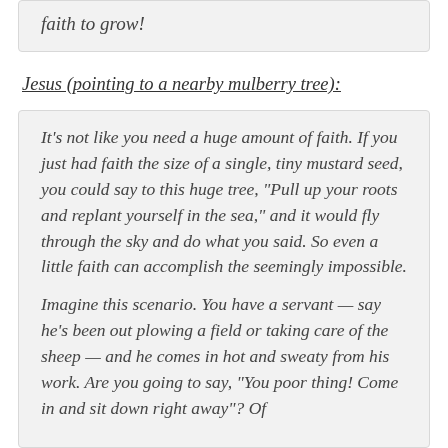faith to grow!
Jesus (pointing to a nearby mulberry tree):
It's not like you need a huge amount of faith. If you just had faith the size of a single, tiny mustard seed, you could say to this huge tree, "Pull up your roots and replant yourself in the sea," and it would fly through the sky and do what you said. So even a little faith can accomplish the seemingly impossible.
Imagine this scenario. You have a servant — say he's been out plowing a field or taking care of the sheep — and he comes in hot and sweaty from his work. Are you going to say, "You poor thing! Come in and sit down right away"? Of